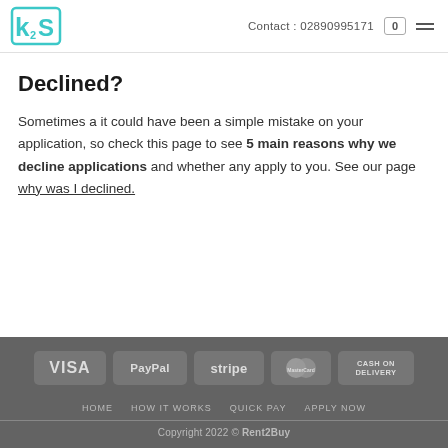Contact: 02890995171
Declined?
Sometimes a it could have been a simple mistake on your application, so check this page to see 5 main reasons why we decline applications and whether any apply to you. See our page why was I declined.
[Figure (other): Payment method logos: VISA, PayPal, stripe, MasterCard, CASH ON DELIVERY]
HOME  HOW IT WORKS  QUICK PAY  APPLY NOW
Copyright 2022 © Rent2Buy